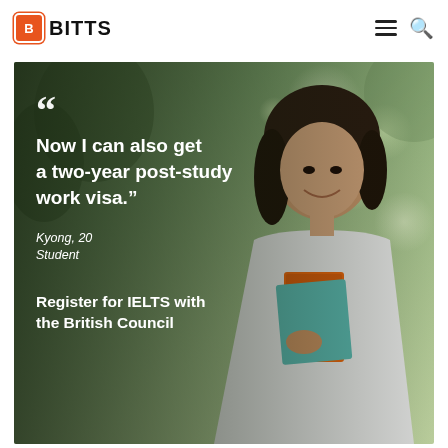BITTS
[Figure (photo): A young Asian female student smiling, holding orange and blue books/folders, standing outdoors in a green leafy background. Overlaid text reads: 'Now I can also get a two-year post-study work visa.' Kyong, 20. Student. Register for IELTS with the British Council.]